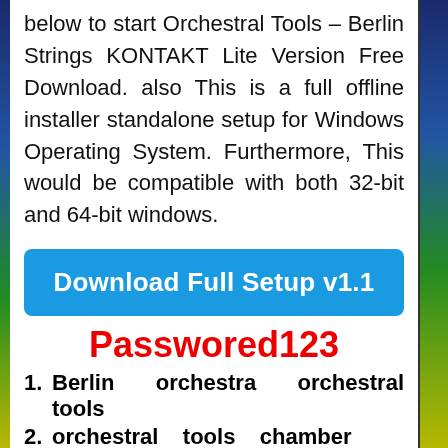below to start Orchestral Tools – Berlin Strings KONTAKT Lite Version Free Download. also This is a full offline installer standalone setup for Windows Operating System. Furthermore, This would be compatible with both 32-bit and 64-bit windows.
Download Full Setup v1.1
Passwored123
Berlin orchestra orchestral tools
orchestral tools chamber